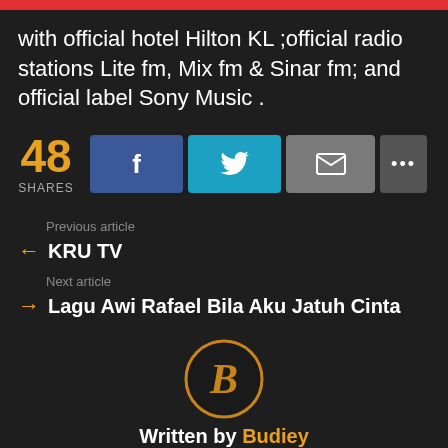with official hotel Hilton KL ;official radio stations Lite fm, Mix fm & Sinar fm; and official label Sony Music .
[Figure (infographic): Social share buttons row: 48 SHARES count, Facebook button (f icon), Twitter button (bird icon), Email button (envelope icon), More button (three dots)]
Previous article
← KRU TV
Next article
→ Lagu Awi Rafael Bila Aku Jatuh Cinta
[Figure (logo): Circular black logo with gold 'B' script letter and gold border ring]
Written by Budiey